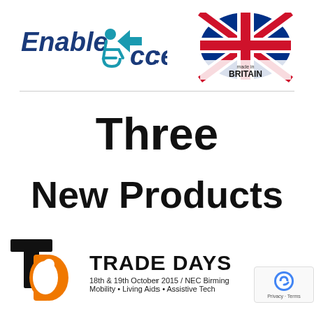[Figure (logo): Enable Access logo with wheelchair icon and teal/blue lettering]
[Figure (logo): Enable Access Made in Britain logo with Union Jack flag]
Three
New Products
[Figure (logo): Trade Days logo with black and orange T D icon and text: TRADE DAYS 18th & 19th October 2015 / NEC Birmingham. Mobility • Living Aids • Assistive Technology]
[Figure (logo): reCAPTCHA badge with Privacy and Terms text]